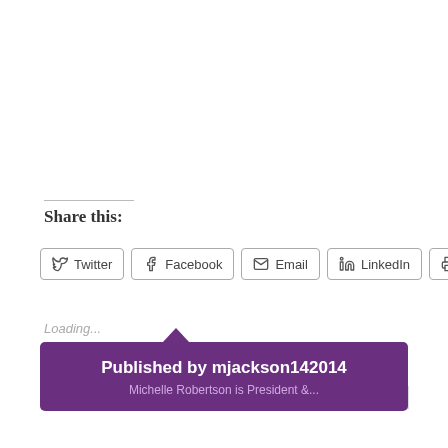Share this:
Twitter  Facebook  Email  LinkedIn  Print
Loading...
IMMIGRATION
IMMIGRATION NIGHTMARE
SOFTWARE FLOW
VIRGINIA
YOUTH ENTREPRENEUR
Published by mjackson142014
Michelle Robertson is President &...